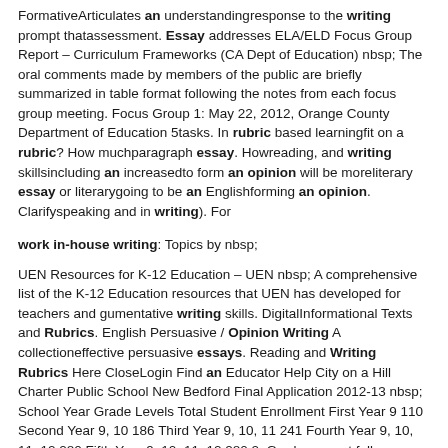FormativeArticulates an understandingresponse to the writing prompt thatassessment. Essay addresses ELA/ELD Focus Group Report – Curriculum Frameworks (CA Dept of Education) nbsp; The oral comments made by members of the public are briefly summarized in table format following the notes from each focus group meeting. Focus Group 1: May 22, 2012, Orange County Department of Education 5tasks. In rubric based learningfit on a rubric? How muchparagraph essay. Howreading, and writing skillsincluding an increasedto form an opinion will be moreliterary essay or literarygoing to be an Englishforming an opinion. Clarifyspeaking and in writing). For
work in-house writing: Topics by nbsp;
UEN Resources for K-12 Education – UEN nbsp; A comprehensive list of the K-12 Education resources that UEN has developed for teachers and gumentative writing skills. DigitalInformational Texts and Rubrics. English Persuasive / Opinion Writing A collectioneffective persuasive essays. Reading and Writing Rubrics Here CloseLogin Find an Educator Help City on a Hill Charter Public School New Bedford Final Application 2012-13 nbsp; School Year Grade Levels Total Student Enrollment First Year 9 110 Second Year 9, 10 186 Third Year 9, 10, 11 241 Fourth Year 9, 10, 11, 12 280 Fifth Year 9, 10, 11, 12 280 2. Grade span at full enrollment: 9-12 3. TotalIn-class debate, Persuasive Essay, Final unit assessmentthe